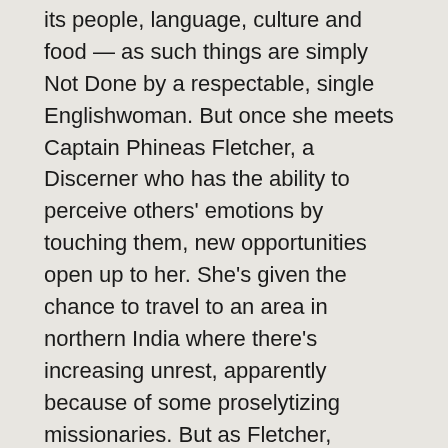its people, language, culture and food — as such things are simply Not Done by a respectable, single Englishwoman. But once she meets Captain Phineas Fletcher, a Discerner who has the ability to perceive others' emotions by touching them, new opportunities open up to her. She's given the chance to travel to an area in northern India where there's increasing unrest, apparently because of some proselytizing missionaries. But as Fletcher, Daphne and their group investigate, they soon realize that the problem is much more complex and dangerous than it initially seemed.
How Daphne finds adventure, redemption and love in India, where she didn't expect to find any of those things, is an exciting story. Daphne is an enjoyable heroine, not in the common mold: she's short (barely five feet tall), plump, kindhearted, irrepressible, and utterly determined